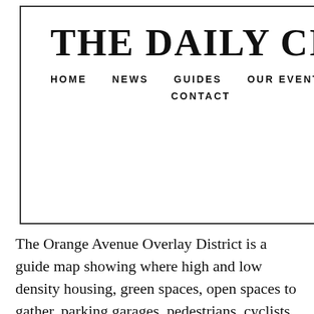THE DAILY CITY
HOME  NEWS  GUIDES  OUR EVENTS  CONTACT
nput
s at 12
e
e
The Orange Avenue Overlay District is a guide map showing where high and low density housing, green spaces, open spaces to gather, parking garages, pedestrians, cyclists, cars, retail, stormwater retention areas, styles of architecture and more will be placed.
The District is divided into Subareas for high, medium, and low density. Each Subarea has differing rules governing how much bulk a building can have, how high a building can be, and how many dwelling